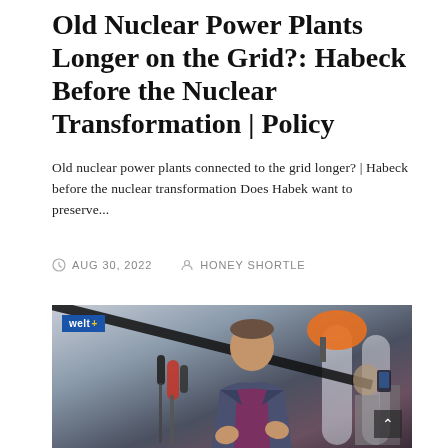Old Nuclear Power Plants Longer on the Grid?: Habeck Before the Nuclear Transformation | Policy
Old nuclear power plants connected to the grid longer? | Habeck before the nuclear transformation Does Habek want to preserve...
AUG 30, 2022   HONEY SHORTLE
[Figure (photo): Photo of a man in a blue suit and purple shirt speaking at a press conference surrounded by microphones, with a welt+ badge overlay in the top left corner]